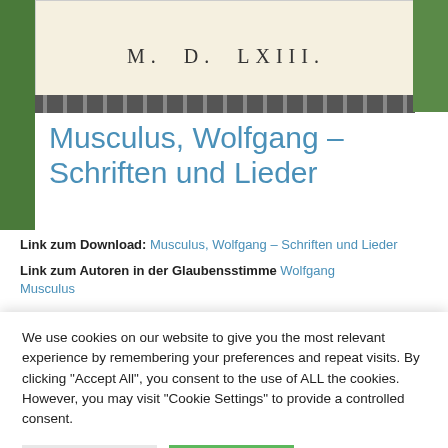[Figure (photo): Top portion of an old document/book page showing 'M. D. LXIII.' in Roman numerals with decorative border, overlaid on a green outdoor/park background photo]
Musculus, Wolfgang – Schriften und Lieder
Link zum Download: Musculus, Wolfgang – Schriften und Lieder
Link zum Autoren in der Glaubensstimme Wolfgang Musculus
We use cookies on our website to give you the most relevant experience by remembering your preferences and repeat visits. By clicking "Accept All", you consent to the use of ALL the cookies. However, you may visit "Cookie Settings" to provide a controlled consent.
Cookie Settings | Accept All